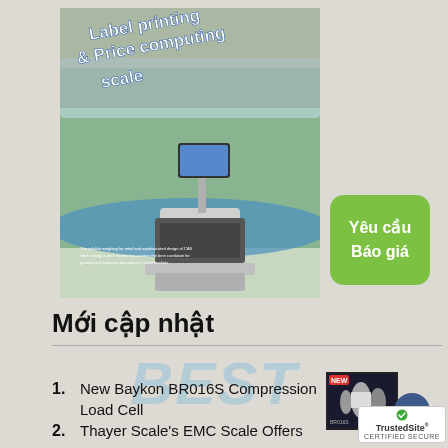[Figure (photo): Product brochure image of a label printing and price computing scale in a supermarket deli setting, with text overlay 'Label printing & Price computing scale']
Yêu cầu Báo giá
Mới cập nhật
New Baykon BR016S Compression Load Cell
[Figure (photo): Small thumbnail image of Baykon BR016S Compression Load Cell product]
Thayer Scale's EMC Scale Offers